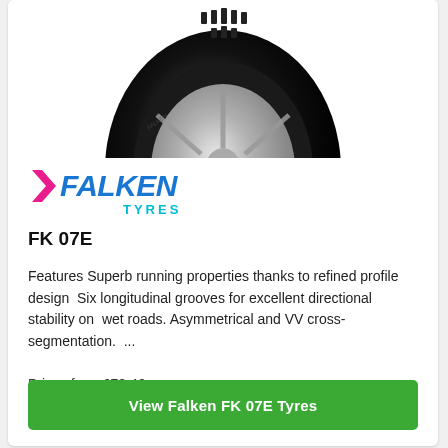[Figure (photo): Falken FK 07E tyre, black, viewed from slightly above front angle showing tread pattern and side wall, cropped at top]
[Figure (logo): Falken Tyres logo — FALKEN in bold blue italic with a pink chevron/arrow, TYRES in smaller cyan text below]
FK 07E
Features Superb running properties thanks to refined profile design  Six longitudinal grooves for excellent directional stability on  wet roads. Asymmetrical and VV cross-segmentation.  ...
Prices from £73.46
View Falken FK 07E Tyres